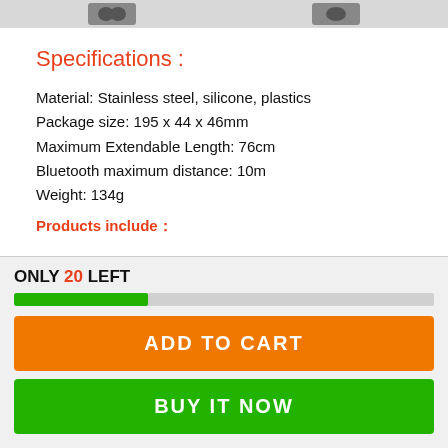[Figure (photo): Product image strip showing two small dark product images on a light gray background]
Specifications :
Material: Stainless steel, silicone, plastics
Package size: 195 x 44 x 46mm
Maximum Extendable Length: 76cm
Bluetooth maximum distance: 10m
Weight: 134g
Products include：
ONLY 20 LEFT
ADD TO CART
BUY IT NOW